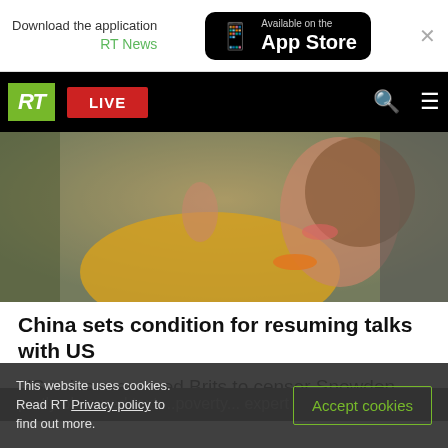Download the application RT News | Available on the App Store
[Figure (screenshot): RT news website navigation bar with RT logo, LIVE button, search and menu icons]
[Figure (photo): Woman in yellow jacket with orange necklace speaking or gesturing expressively]
China sets condition for resuming talks with US
US spies pressured Brits to censor Snowden leaks – media
This website uses cookies. Read RT Privacy policy to find out more. | Accept cookies